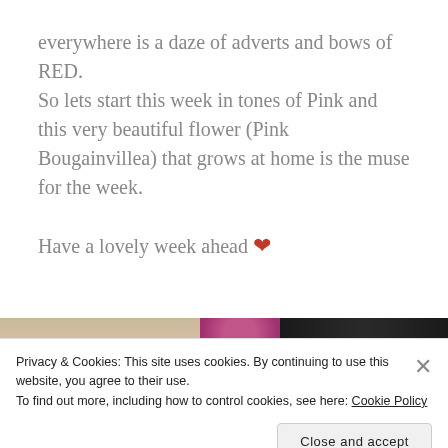everywhere is a daze of adverts and bows of RED. So lets start this week in tones of Pink and this very beautiful flower (Pink Bougainvillea) that grows at home is the muse for the week.

Have a lovely week ahead ❤
[Figure (photo): Three partially visible photos in a horizontal strip: a beige/tan image on the left, a pink/magenta circular flower in the center, and a dark/black image on the right.]
Privacy & Cookies: This site uses cookies. By continuing to use this website, you agree to their use.
To find out more, including how to control cookies, see here: Cookie Policy